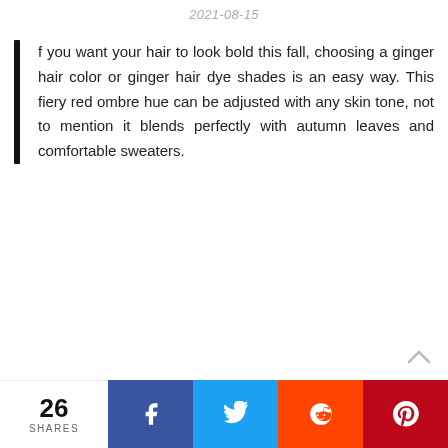2021-08-15
If you want your hair to look bold this fall, choosing a ginger hair color or ginger hair dye shades is an easy way. This fiery red ombre hue can be adjusted with any skin tone, not to mention it blends perfectly with autumn leaves and comfortable sweaters.
26 SHARES | Facebook | Twitter | Reddit | Pinterest